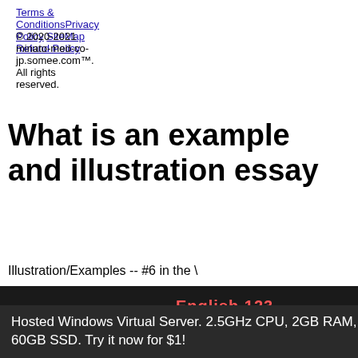Terms & Conditions Privacy Policy SiteMap Refund Policy
© 2020-2021 minato-med-co-jp.somee.com™. All rights reserved.
What is an example and illustration essay
Illustration/Examples -- #6 in the \
[Figure (screenshot): Video thumbnail with dark background, green circle avatar with letter C, text 'Illustration/Examples -- #6 in the "How to Write C' and 'English 123' label in red]
Hosted Windows Virtual Server. 2.5GHz CPU, 2GB RAM, 60GB SSD. Try it now for $1!